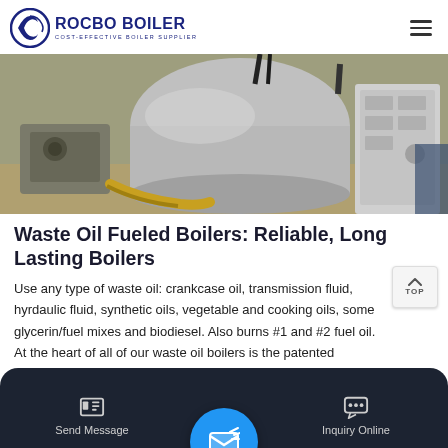ROCBO BOILER — COST-EFFECTIVE BOILER SUPPLIER
[Figure (photo): Industrial boiler equipment in a factory setting, showing large metallic cylindrical boiler, hoses, and control panels]
Waste Oil Fueled Boilers: Reliable, Long Lasting Boilers
Use any type of waste oil: crankcase oil, transmission fluid, hyrdaulic fluid, synthetic oils, vegetable and cooking oils, some glycerin/fuel mixes and biodiesel. Also burns #1 and #2 fuel oil. At the heart of all of our waste oil boilers is the patented Shenandoa…
Get Price
Send Message | Inquiry Online